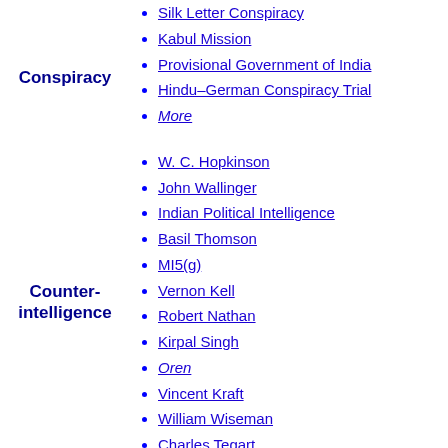Conspiracy
Silk Letter Conspiracy
Kabul Mission
Provisional Government of India
Hindu–German Conspiracy Trial
More
Counter-intelligence
W. C. Hopkinson
John Wallinger
Indian Political Intelligence
Basil Thomson
MI5(g)
Vernon Kell
Robert Nathan
Kirpal Singh
Oren
Vincent Kraft
William Wiseman
Charles Tegart
Guy Gaunt
W. Somerset Maugham
East Persia Cordon
Lawrence of Arabia
Defence of India Act 1915